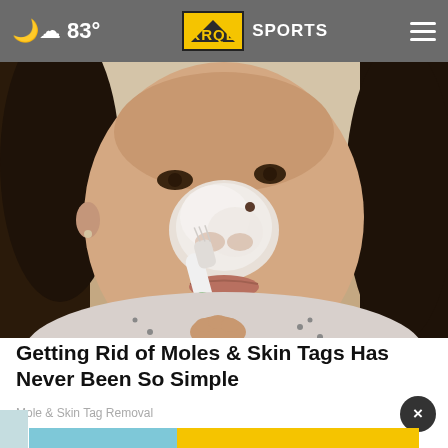83° KRQE SPORTS
[Figure (photo): A woman applying white cream to her nose area using a toothbrush, looking at the camera. She has long dark hair and is wearing a light patterned top.]
Getting Rid of Moles & Skin Tags Has Never Been So Simple
Mole & Skin Tag Removal
[Figure (other): Advertisement banner with blue and yellow sections]